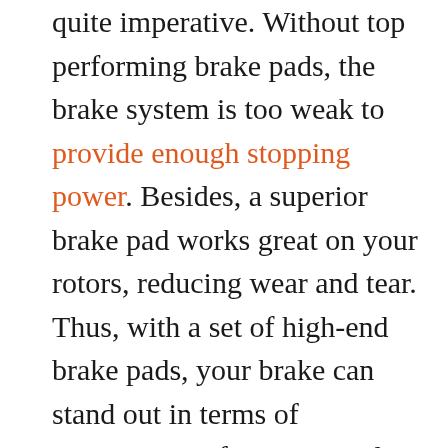quite imperative. Without top performing brake pads, the brake system is too weak to provide enough stopping power. Besides, a superior brake pad works great on your rotors, reducing wear and tear. Thus, with a set of high-end brake pads, your brake can stand out in terms of consistent performance and quality. So, you can't compromise when purchasing brake pads for your ride.

With various options available, it isn't easy to choose the best brand for your brake pads. In our Wagner brake pads review, we have taken a lot of things into account. And, we conclude that Wagner provides its customers with the best